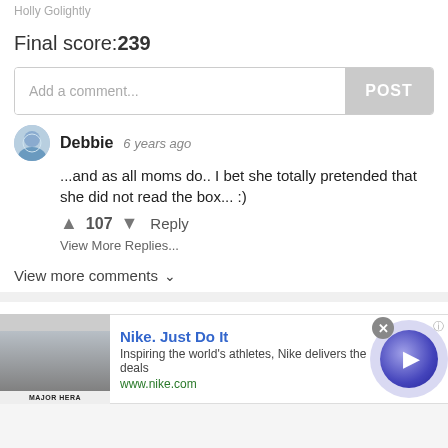Holly Golightly
Final score:239
Add a comment...
POST
Debbie  6 years ago
...and as all moms do.. I bet she totally pretended that she did not read the box... :)
107  Reply
View More Replies...
View more comments
#6 My Mum Ordered A Cake For My Sister And Asked For A Blond Girl Or...
[Figure (screenshot): Nike advertisement banner with logo image on left, Nike. Just Do It headline, tagline 'Inspiring the world's athletes, Nike delivers the deals', www.nike.com URL, close button, and a purple play button on the right.]